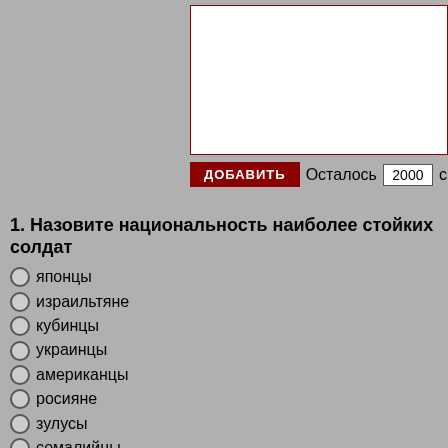[Figure (screenshot): White textarea input box with dark red border]
ДОБАВИТЬ  Осталось  2000  си
1. Назовите национальность наиболее стойких солдат
японцы
израильтяне
кубинцы
украинцы
американцы
росияне
зулусы
сомалийцы
афганцы
немцы